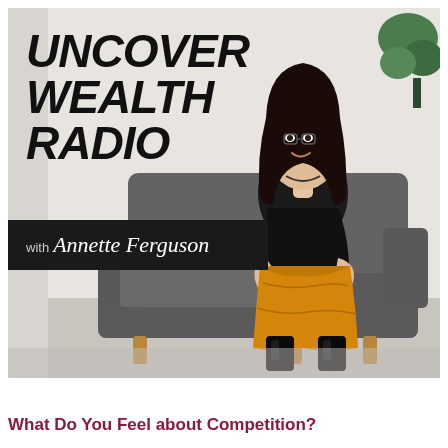[Figure (photo): Podcast cover art for 'Uncover Wealth Radio with Annette Ferguson'. A woman with dark hair, wearing a black blazer and orange/gold wide-leg trousers with black knee-high boots, sits on a dark grey sofa/armchair. She looks to the right and smiles gently. A green plant is visible in the upper right corner. The background is a light grey wall. Bold black italic text in the upper left reads 'UNCOVER WEALTH RADIO'. A dark banner below reads 'with Annette Ferguson' in script.]
What Do You Feel about Competition?